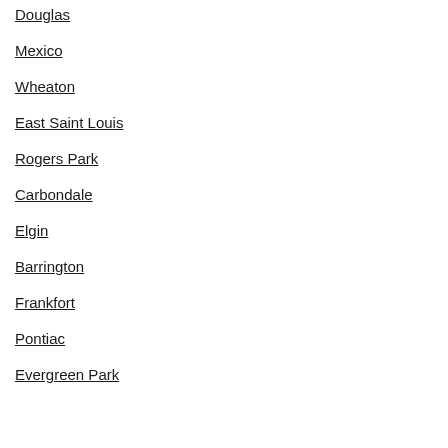Douglas
Mexico
Wheaton
East Saint Louis
Rogers Park
Carbondale
Elgin
Barrington
Frankfort
Pontiac
Evergreen Park